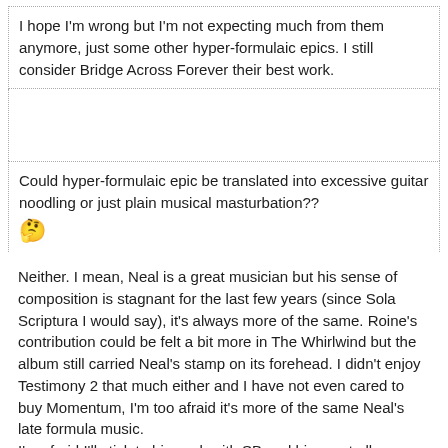I hope I'm wrong but I'm not expecting much from them anymore, just some other hyper-formulaic epics. I still consider Bridge Across Forever their best work.
Could hyper-formulaic epic be translated into excessive guitar noodling or just plain musical masturbation?? 🤔
Neither. I mean, Neal is a great musician but his sense of composition is stagnant for the last few years (since Sola Scriptura I would say), it's always more of the same. Roine's contribution could be felt a bit more in The Whirlwind but the album still carried Neal's stamp on its forehead. I didn't enjoy Testimony 2 that much either and I have not even cared to buy Momentum, I'm too afraid it's more of the same Neal's late formula music.
I'm afraid I'll stick to his work with SB and his great albums up to Sola Scriptura.
They will always be a great band to see live though!